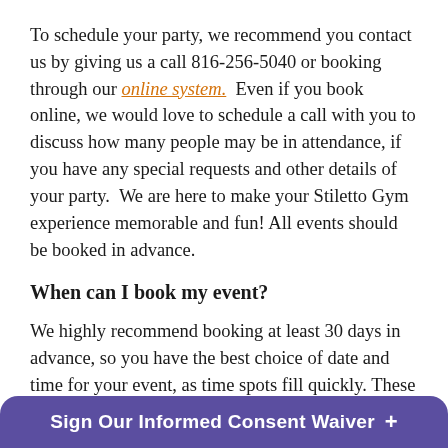To schedule your party, we recommend you contact us by giving us a call 816-256-5040 or booking through our online system. Even if you book online, we would love to schedule a call with you to discuss how many people may be in attendance, if you have any special requests and other details of your party. We are here to make your Stiletto Gym experience memorable and fun! All events should be booked in advance.
When can I book my event?
We highly recommend booking at least 30 days in advance, so you have the best choice of date and time for your event, as time spots fill quickly. These events are scheduled on a person by person basis and there is no specific times or days of the week that we host parties, alth... O...
Sign Our Informed Consent Waiver +